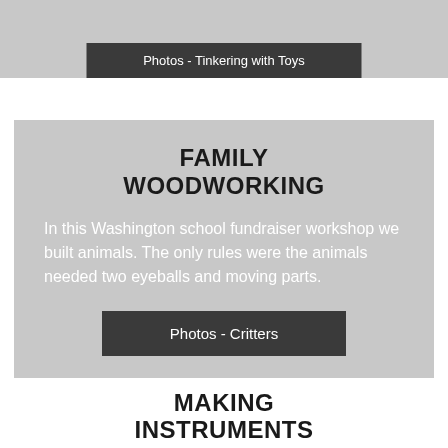[Figure (other): Top gray section with dark button labeled 'Photos - Tinkering with Toys']
Photos - Tinkering with Toys
FAMILY WOODWORKING
In this Washington school fundraiser workshop we built animals. The only rules were the animals needed two eyeballs and moving parts.
Photos - Critters
MAKING INSTRUMENTS